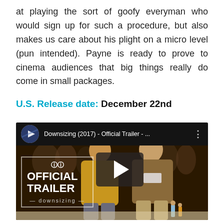at playing the sort of goofy everyman who would sign up for such a procedure, but also makes us care about his plight on a micro level (pun intended). Payne is ready to prove to cinema audiences that big things really do come in small packages.
U.S. Release date: December 22nd
[Figure (screenshot): YouTube video embed showing the Downsizing (2017) Official Trailer from Paramount Pictures. The thumbnail shows a couple standing at a display with 'OFFICIAL TRAILER - downsizing' text overlay and a play button in the center.]